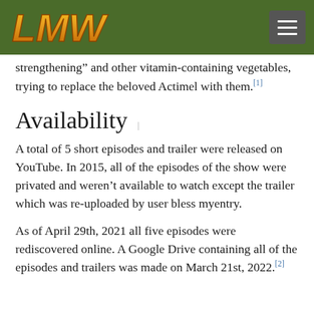[Figure (logo): LMW logo in gold/orange stylized letters on dark green header bar]
strengthening” and other vitamin-containing vegetables, trying to replace the beloved Actimel with them.[1]
Availability
A total of 5 short episodes and trailer were released on YouTube. In 2015, all of the episodes of the show were privated and weren’t available to watch except the trailer which was re-uploaded by user bless myentry.
As of April 29th, 2021 all five episodes were rediscovered online. A Google Drive containing all of the episodes and trailers was made on March 21st, 2022.[2]